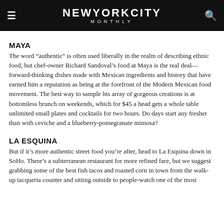NEW YORK CITY MONTHLY
MAYA
The word “authentic” is often used liberally in the realm of describing ethnic food, but chef-owner Richard Sandoval’s food at Maya is the real deal—forward-thinking dishes made with Mexican ingredients and history that have earned him a reputation as being at the forefront of the Modern Mexican food movement. The best way to sample his array of gorgeous creations is at bottomless brunch on weekends, which for $45 a head gets a whole table unlimited small plates and cocktails for two hours. Do days start any fresher than with ceviche and a blueberry-pomegranate mimosa?
LA ESQUINA
But if it’s more authentic street food you’re after, head to La Esquina down in SoHo. There’s a subterranean restaurant for more refined fare, but we suggest grabbing some of the best fish tacos and roasted corn in town from the walk-up tacqueria counter and sitting outside to people-watch one of the most